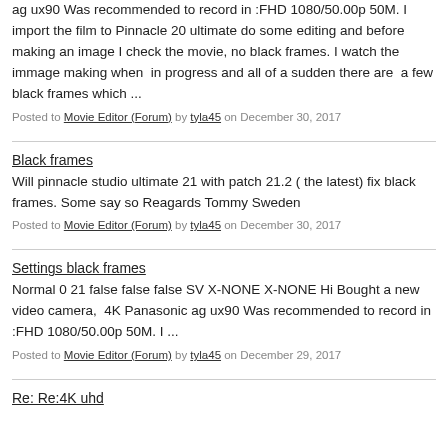ag ux90 Was recommended to record in :FHD 1080/50.00p 50M. I import the film to Pinnacle 20 ultimate do some editing and before making an image I check the movie, no black frames. I watch the immage making when &nbsp;in progress and all of a sudden there are&nbsp; a few black frames which ...
Posted to Movie Editor (Forum) by tyla45 on December 30, 2017
Black frames
Will pinnacle studio ultimate 21 with patch 21.2 ( the latest) fix black frames. Some say so Reagards Tommy Sweden
Posted to Movie Editor (Forum) by tyla45 on December 30, 2017
Settings black frames
Normal 0 21 false false false SV X-NONE X-NONE Hi Bought a new video camera,&nbsp; 4K Panasonic ag ux90 Was recommended to record in :FHD 1080/50.00p 50M. I ...
Posted to Movie Editor (Forum) by tyla45 on December 29, 2017
Re: Re:4K uhd